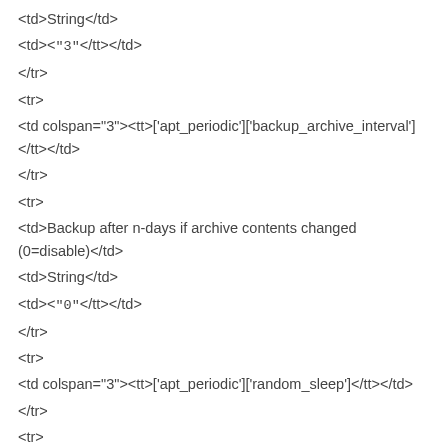<td>String</td>
<td><tt>"3"</tt></td>
</tr>
<tr>
<td colspan="3"><tt>['apt_periodic']['backup_archive_interval']</tt></td>
</tr>
<tr>
<td>Backup after n-days if archive contents changed (0=disable)</td>
<td>String</td>
<td><tt>"0"</tt></td>
</tr>
<tr>
<td colspan="3"><tt>['apt_periodic']['random_sleep']</tt></td>
</tr>
<tr>
<td>Sleep for a random interval of time</td>
<td>String</td>
<td><tt>"1800"</tt></td>
</tr>
<tr>
<td colspan="3"><tt>['apt_periodic']['verbose']</tt></td>
</tr>
<tr>